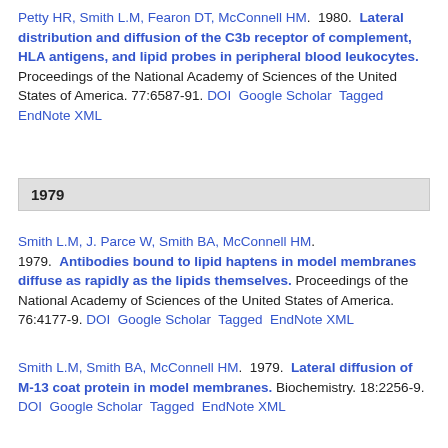Petty HR, Smith L.M, Fearon DT, McConnell HM. 1980. Lateral distribution and diffusion of the C3b receptor of complement, HLA antigens, and lipid probes in peripheral blood leukocytes. Proceedings of the National Academy of Sciences of the United States of America. 77:6587-91. DOI Google Scholar Tagged EndNote XML
1979
Smith L.M, J. Parce W, Smith BA, McConnell HM. 1979. Antibodies bound to lipid haptens in model membranes diffuse as rapidly as the lipids themselves. Proceedings of the National Academy of Sciences of the United States of America. 76:4177-9. DOI Google Scholar Tagged EndNote XML
Smith L.M, Smith BA, McConnell HM. 1979. Lateral diffusion of M-13 coat protein in model membranes. Biochemistry. 18:2256-9. DOI Google Scholar Tagged EndNote XML